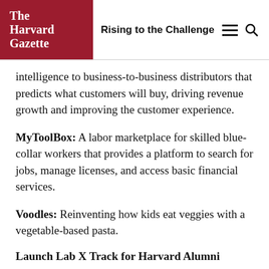The Harvard Gazette | Rising to the Challenge
intelligence to business-to-business distributors that predicts what customers will buy, driving revenue growth and improving the customer experience.
MyToolBox: A labor marketplace for skilled blue-collar workers that provides a platform to search for jobs, manage licenses, and access basic financial services.
Voodles: Reinventing how kids eat veggies with a vegetable-based pasta.
Launch Lab X Track for Harvard Alumni
Jamber: Bringing back the joy of living by using science to reinvent everyday objects that can transform lives.